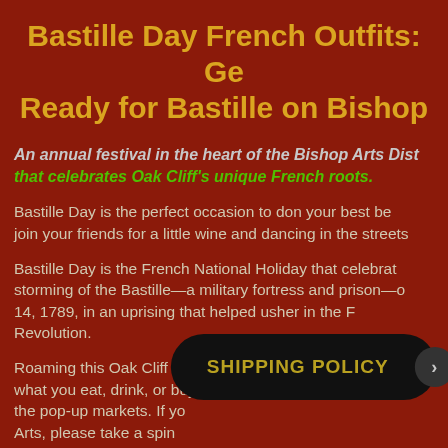Bastille Day French Outfits: Get Ready for Bastille on Bishop
An annual festival in the heart of the Bishop Arts District that celebrates Oak Cliff's unique French roots.
Bastille Day is the perfect occasion to don your best beret and join your friends for a little wine and dancing in the streets.
Bastille Day is the French National Holiday that celebrates the storming of the Bastille—a military fortress and prison—on July 14, 1789, in an uprising that helped usher in the French Revolution.
Roaming this Oak Cliff festival is free. Your only expense is what you eat, drink, or buy when shopping in Bishop Arts or at the pop-up markets. If you... Arts, please take a spin... beverages at the festival, you...
SHIPPING POLICY